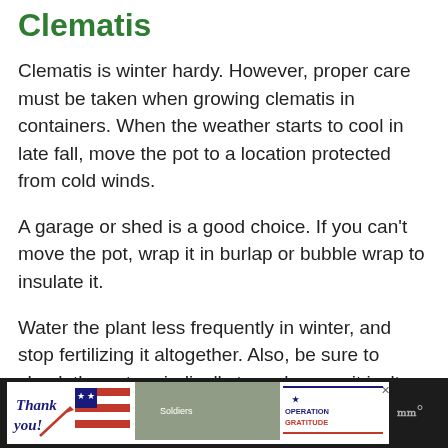Clematis
Clematis is winter hardy. However, proper care must be taken when growing clematis in containers. When the weather starts to cool in late fall, move the pot to a location protected from cold winds.
A garage or shed is a good choice. If you can’t move the pot, wrap it in burlap or bubble wrap to insulate it.
Water the plant less frequently in winter, and stop fertilizing it altogether. Also, be sure to check the pot periodically to make sure it isn’t drying out.
[Figure (advertisement): Operation Gratitude advertisement banner with 'Thank you!' handwritten text, military personnel photo, and Operation Gratitude logo on dark background]